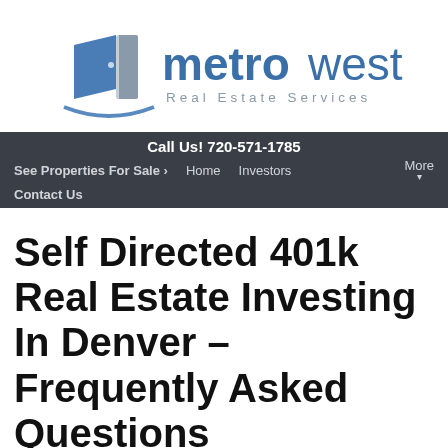[Figure (logo): MetroWest Real Estate Services logo — blue door icon on left, bold 'metrowest' in blue, 'Real Estate Services' in gray spaced letters below]
Call Us! 720-571-1785
See Properties For Sale ›   Home   Investors   More
Contact Us
Self Directed 401k Real Estate Investing In Denver – Frequently Asked Questions
January 19, 2018